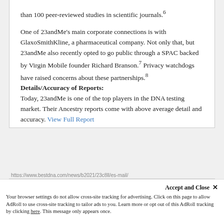than 100 peer-reviewed studies in scientific journals.6
One of 23andMe's main corporate connections is with GlaxoSmithKline, a pharmaceutical company. Not only that, but 23andMe also recently opted to go public through a SPAC backed by Virgin Mobile founder Richard Branson.7 Privacy watchdogs have raised concerns about these partnerships.8
Details/Accuracy of Reports:
Today, 23andMe is one of the top players in the DNA testing market. Their Ancestry reports come with above average detail and accuracy. View Full Report
https://www.bestdna.com/news/b2021/23c8ll/es-mail/
Accept and Close ✕
Your browser settings do not allow cross-site tracking for advertising. Click on this page to allow AdRoll to use cross-site tracking to tailor ads to you. Learn more or opt out of this AdRoll tracking by clicking here. This message only appears once.